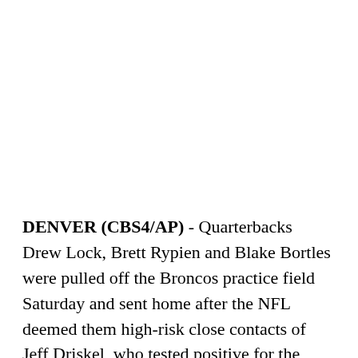DENVER (CBS4/AP) - Quarterbacks Drew Lock, Brett Rypien and Blake Bortles were pulled off the Broncos practice field Saturday and sent home after the NFL deemed them high-risk close contacts of Jeff Driskel, who tested positive for the coronavirus on Thanksgiving Day. It turns out, the four Denver QBs had gathered for some film study on their own Tuesday, the players' day off, "which is